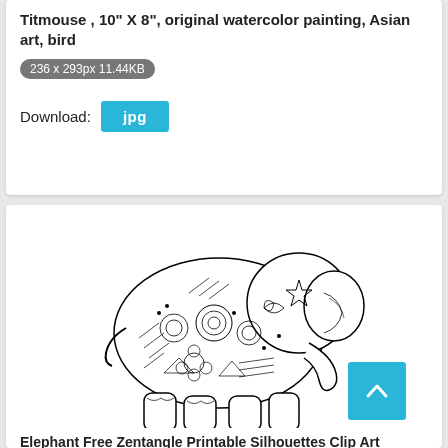Titmouse , 10" X 8", original watercolor painting, Asian art, bird
236 x 293px 11.44KB
Download: jpg
[Figure (illustration): Black and white intricate zentangle/mandala style elephant illustration with detailed floral and geometric patterns covering the entire body]
Elephant Free Zentangle Printable Silhouettes Clip Art